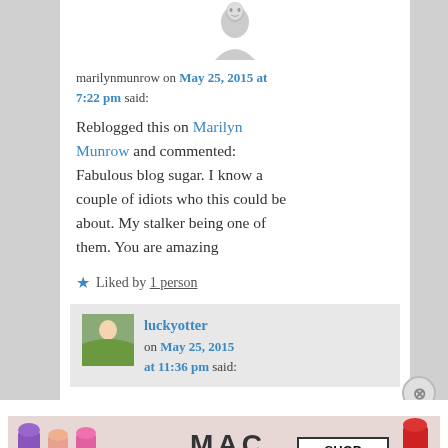[Figure (photo): Avatar image of marilynmunrow - black and white photo of a woman]
marilynmunrow on May 25, 2015 at 7:22 pm said:
Reblogged this on Marilyn Munrow and commented: Fabulous blog sugar. I know a couple of idiots who this could be about. My stalker being one of them. You are amazing
★ Liked by 1 person
[Figure (photo): Avatar image of luckyotter - woman in blue jacket outdoors]
luckyotter on May 25, 2015 at 11:36 pm said:
Advertisements
[Figure (photo): MAC cosmetics advertisement showing lipsticks with SHOP NOW text]